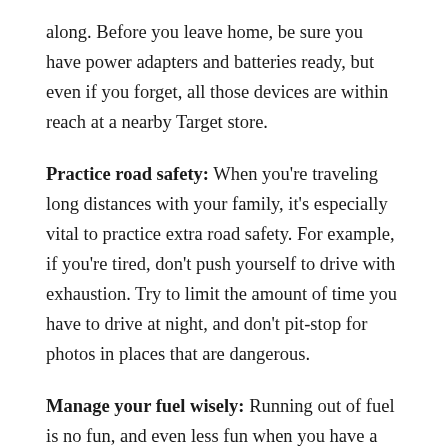along. Before you leave home, be sure you have power adapters and batteries ready, but even if you forget, all those devices are within reach at a nearby Target store.
Practice road safety: When you're traveling long distances with your family, it's especially vital to practice extra road safety. For example, if you're tired, don't push yourself to drive with exhaustion. Try to limit the amount of time you have to drive at night, and don't pit-stop for photos in places that are dangerous.
Manage your fuel wisely: Running out of fuel is no fun, and even less fun when you have a carload of kids to remind you how hot it will get if that happens. In some western, remote parts of the country, you need to be extra vigilant of your fuel gauge at stations.